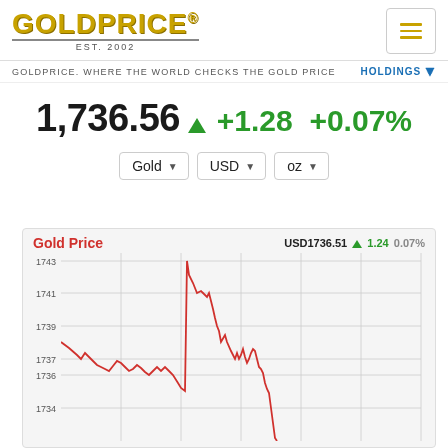[Figure (logo): GoldPrice logo with golden text, EST. 2002, and registered trademark symbol]
GOLDPRICE. WHERE THE WORLD CHECKS THE GOLD PRICE
HOLDINGS
1,736.56 +1.28 +0.07%
Gold | USD | oz
[Figure (line-chart): Intraday gold price line chart showing price fluctuations between approximately 1734 and 1743 USD]